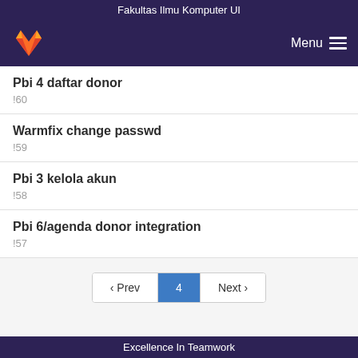Fakultas Ilmu Komputer UI
Pbi 4 daftar donor
!60
Warmfix change passwd
!59
Pbi 3 kelola akun
!58
Pbi 6/agenda donor integration
!57
Excellence In Teamwork